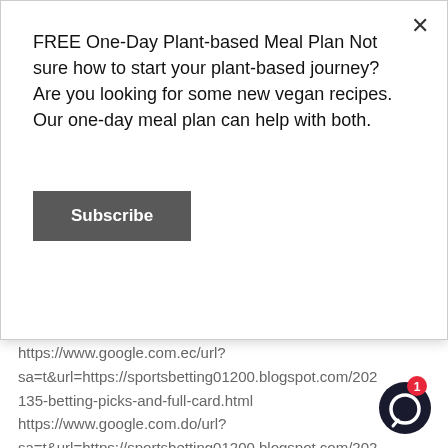FREE One-Day Plant-based Meal Plan Not sure how to start your plant-based journey? Are you looking for some new vegan recipes. Our one-day meal plan can help with both.
Subscribe
sa=t&url=https://sportsbetting01200.blogspot.com/202 135-betting-picks-and-full-card.html https://www.google.com.ec/url? sa=t&url=https://sportsbetting01200.blogspot.com/202 135-betting-picks-and-full-card.html https://www.google.com.do/url? sa=t&url=https://sportsbetting01200.blogspot.com/202 135-betting-picks-and-full-card.html https://www.google.com.cy/url? sa=t&url=https://sportsbetting01200.blogspo[...]/202 135-betting-picks-and-full-card.html https://www.google.com.cu/url?